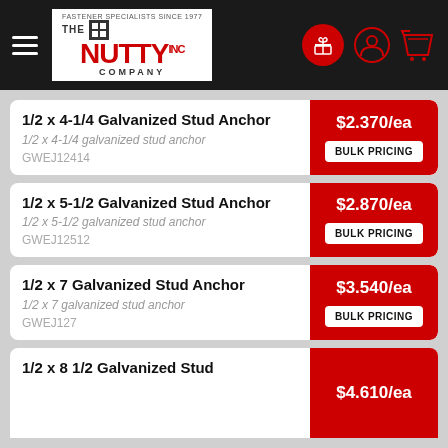[Figure (logo): The Nutty Company Inc. logo with hamburger menu and header icons on dark background]
| Product | Price |
| --- | --- |
| 1/2 x 4-1/4 Galvanized Stud Anchor
1/2 x 4-1/4 galvanized stud anchor
GWEJ12414 | $2.370/ea |
| 1/2 x 5-1/2 Galvanized Stud Anchor
1/2 x 5-1/2 galvanized stud anchor
GWEJ12512 | $2.870/ea |
| 1/2 x 7 Galvanized Stud Anchor
1/2 x 7 galvanized stud anchor
GWEJ127 | $3.540/ea |
| 1/2 x 8 1/2 Galvanized Stud (partial) | $4.610/ea |